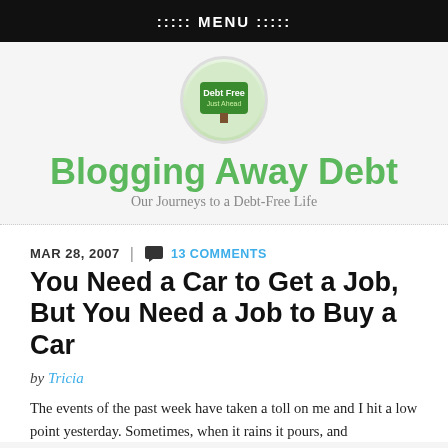::::: MENU :::::
[Figure (logo): Circular logo with green road sign reading 'Debt Free Just Ahead']
Blogging Away Debt
Our Journeys to a Debt-Free Life
MAR 28, 2007  |  13 COMMENTS
You Need a Car to Get a Job, But You Need a Job to Buy a Car
by Tricia
The events of the past week have taken a toll on me and I hit a low point yesterday. Sometimes, when it rains it pours, and